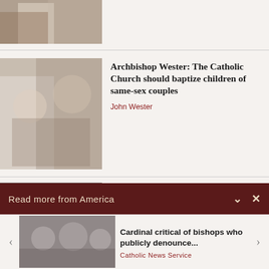[Figure (photo): Partial photo of person in white robe receiving something, cropped at top]
[Figure (photo): Archbishop and Pope Francis exchanging document]
Archbishop Wester: The Catholic Church should baptize children of same-sex couples
John Wester
[Figure (photo): Cardinal Dolan speaking with migrants]
Cardinal Dolan meets with migrants bused by Gov. Abbott from Texas, offers archbishop...
Read more from America
[Figure (photo): Three bishops/cardinals seated in formal attire]
Cardinal critical of bishops who publicly denounce...
Catholic News Service